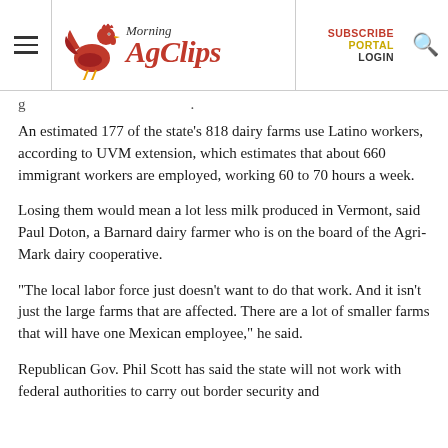Morning AgClips — SUBSCRIBE PORTAL LOGIN
An estimated 177 of the state's 818 dairy farms use Latino workers, according to UVM extension, which estimates that about 660 immigrant workers are employed, working 60 to 70 hours a week.
Losing them would mean a lot less milk produced in Vermont, said Paul Doton, a Barnard dairy farmer who is on the board of the Agri-Mark dairy cooperative.
“The local labor force just doesn’t want to do that work. And it isn’t just the large farms that are affected. There are a lot of smaller farms that will have one Mexican employee,” he said.
Republican Gov. Phil Scott has said the state will not work with federal authorities to carry out border security and